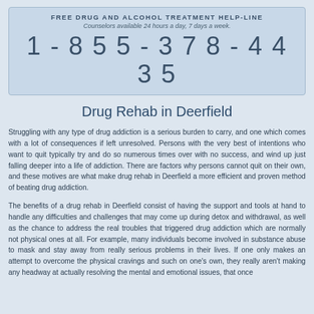FREE DRUG AND ALCOHOL TREATMENT HELP-LINE
Counselors available 24 hours a day, 7 days a week.
1-855-378-4435
Drug Rehab in Deerfield
Struggling with any type of drug addiction is a serious burden to carry, and one which comes with a lot of consequences if left unresolved. Persons with the very best of intentions who want to quit typically try and do so numerous times over with no success, and wind up just falling deeper into a life of addiction. There are factors why persons cannot quit on their own, and these motives are what make drug rehab in Deerfield a more efficient and proven method of beating drug addiction.
The benefits of a drug rehab in Deerfield consist of having the support and tools at hand to handle any difficulties and challenges that may come up during detox and withdrawal, as well as the chance to address the real troubles that triggered drug addiction which are normally not physical ones at all. For example, many individuals become involved in substance abuse to mask and stay away from really serious problems in their lives. If one only makes an attempt to overcome the physical cravings and such on one's own, they really aren't making any headway at actually resolving the mental and emotional issues, that once